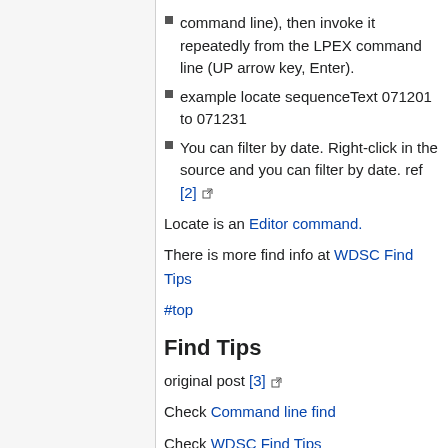command line), then invoke it repeatedly from the LPEX command line (UP arrow key, Enter).
example locate sequenceText 071201 to 071231
You can filter by date. Right-click in the source and you can filter by date. ref [2]
Locate is an Editor command.
There is more find info at WDSC Find Tips
#top
Find Tips
original post [3]
Check Command line find
Check WDSC Find Tips
Check Searching for text
In WDSC
Click Help,
Click Help contents
Search on 'Regular Expression Grammar',